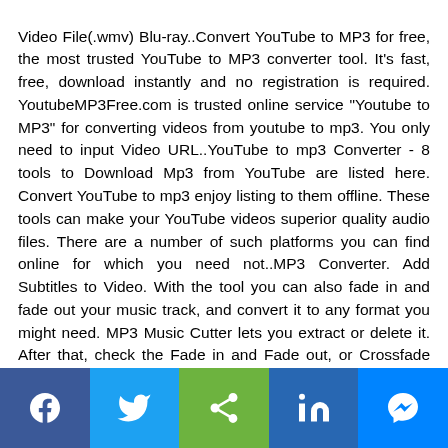Video File(.wmv) Blu-ray..Convert YouTube to MP3 for free, the most trusted YouTube to MP3 converter tool. It's fast, free, download instantly and no registration is required. YoutubeMP3Free.com is trusted online service "Youtube to MP3" for converting videos from youtube to mp3. You only need to input Video URL..YouTube to mp3 Converter - 8 tools to Download Mp3 from YouTube are listed here. Convert YouTube to mp3 enjoy listing to them offline. These tools can make your YouTube videos superior quality audio files. There are a number of such platforms you can find online for which you need not..MP3 Converter. Add Subtitles to Video. With the tool you can also fade in and fade out your music track, and convert it to any format you might need. MP3 Music Cutter lets you extract or delete it. After that, check the Fade in and Fade out, or Crossfade boxes. Sign in to continue. Get incredible features and save your videos to your account.YT2MP3 is an online service, which allows you to convert your favorite
[Figure (other): Social sharing toolbar with Facebook, Twitter, Share, LinkedIn, and Messenger buttons]